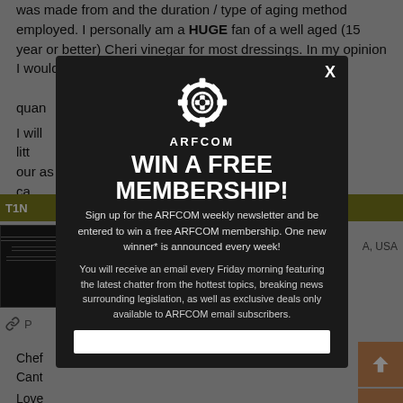was made from and the duration / type of aging method employed. I personally am a HUGE fan of a well aged (15 year or better) Cheri vinegar for most dressings. In my opinion I would either step up to a more [obscured by modal] quantity [obscured].
I will [obscured] from a little [obscured] our as ca[obscured].
[Figure (screenshot): ARFCOM modal popup overlay with logo, headline 'WIN A FREE MEMBERSHIP!', signup text and email input field over a dimmed webpage background]
Chef [obscured] Cant[obscured]
Grea[obscured]
Love[obscured]